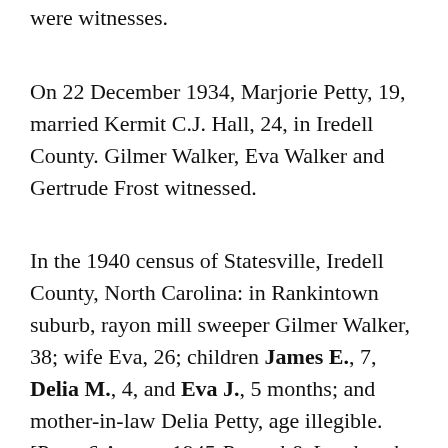were witnesses.
On 22 December 1934, Marjorie Petty, 19, married Kermit C.J. Hall, 24, in Iredell County. Gilmer Walker, Eva Walker and Gertrude Frost witnessed.
In the 1940 census of Statesville, Iredell County, North Carolina: in Rankintown suburb, rayon mill sweeper Gilmer Walker, 38; wife Eva, 26; children James E., 7, Delia M., 4, and Eva J., 5 months; and mother-in-law Delia Petty, age illegible. [Per a 6 August 1945 Record & Landmark article, Walker